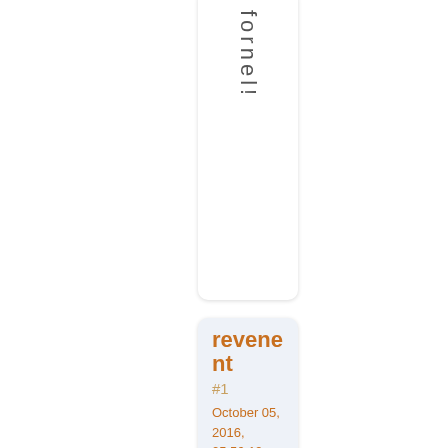fornel!
revenent #1 October 05, 2016, 05:56:19 pm — oh. and al